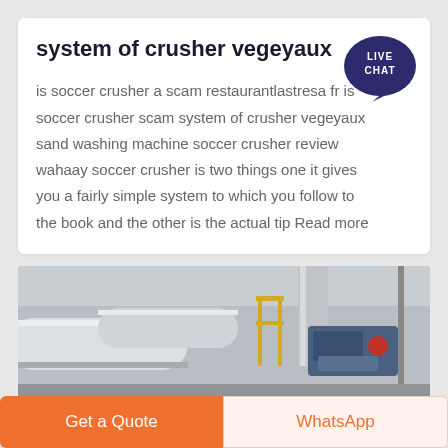system of crusher vegeyaux
is soccer crusher a scam restaurantlastresa fr is soccer crusher scam system of crusher vegeyaux sand washing machine soccer crusher review wahaay soccer crusher is two things one it gives you a fairly simple system to which you follow to the book and the other is the actual tip Read more
[Figure (photo): Industrial pipes and machinery in a facility, showing white/cream colored large pipes and industrial equipment with yellow railings in the background]
Get a Quote
WhatsApp